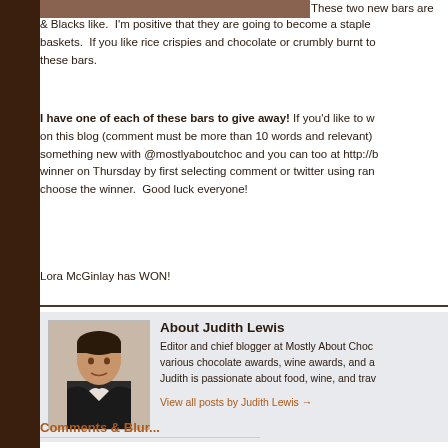[Figure (photo): Partial top of a photo of chocolate bars]
These two new bars are & Blacks like. I'm positive that they are going to become a staple baskets. If you like rice crispies and chocolate or crumbly burnt to these bars.
I have one of each of these bars to give away! If you'd like to w on this blog (comment must be more than 10 words and relevant) something new with @mostlyaboutchoc and you can too at http://b winner on Thursday by first selecting comment or twitter using ran choose the winner. Good luck everyone!
Lora McGinlay has WON!
About Judith Lewis
Editor and chief blogger at Mostly About Choc various chocolate awards, wine awards, and a Judith is passionate about food, wine, and trav
View all posts by Judith Lewis →